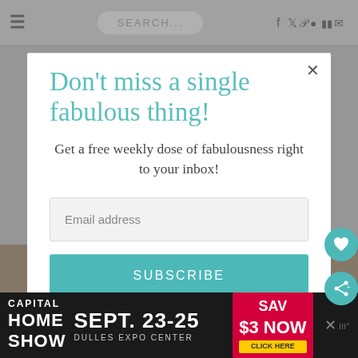≡  SEARCH...  f  tw  p  ig  yt  mail
Don't miss a single fabulous thing!
Get a free weekly dose of fabulousness right to your inbox!
Email address
SUBSCRIBE
[Figure (screenshot): Advertisement banner for Capital Home Show, Sept. 23-25, Dulles Expo Center, Save $3 Now, Click Here]